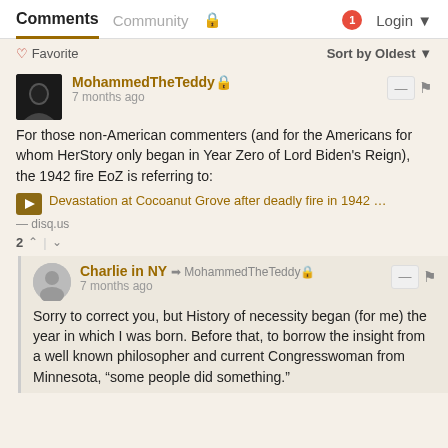Comments  Community  Login
♡ Favorite   Sort by Oldest
MohammedTheTeddy🔒
7 months ago
For those non-American commenters (and for the Americans for whom HerStory only began in Year Zero of Lord Biden's Reign), the 1942 fire EoZ is referring to:
▶ Devastation at Cocoanut Grove after deadly fire in 1942 …
— disq.us
2 ▲ | ▼
Charlie in NY → MohammedTheTeddy🔒
7 months ago
Sorry to correct you, but History of necessity began (for me) the year in which I was born. Before that, to borrow the insight from a well known philosopher and current Congresswoman from Minnesota, "some people did something."